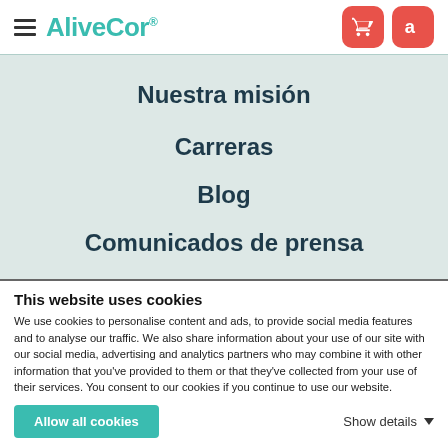AliveCor
Nuestra misión
Carreras
Blog
Comunicados de prensa
Investigación clínica
This website uses cookies
We use cookies to personalise content and ads, to provide social media features and to analyse our traffic. We also share information about your use of our site with our social media, advertising and analytics partners who may combine it with other information that you've provided to them or that they've collected from your use of their services. You consent to our cookies if you continue to use our website.
Allow all cookies
Show details